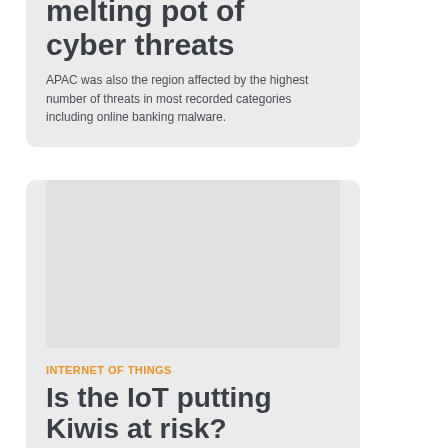melting pot of cyber threats
APAC was also the region affected by the highest number of threats in most recorded categories including online banking malware.
[Figure (photo): Image placeholder area (light grey rectangle) within card]
INTERNET OF THINGS
Is the IoT putting Kiwis at risk?
New Zealand consumers are